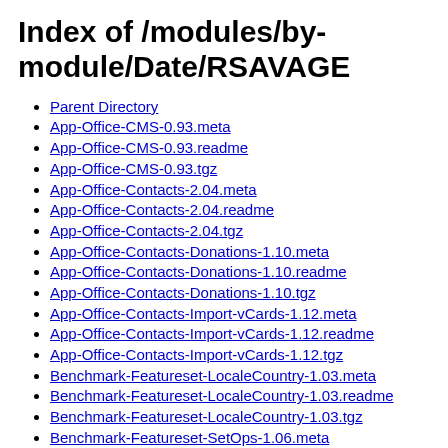Index of /modules/by-module/Date/RSAVAGE
Parent Directory
App-Office-CMS-0.93.meta
App-Office-CMS-0.93.readme
App-Office-CMS-0.93.tgz
App-Office-Contacts-2.04.meta
App-Office-Contacts-2.04.readme
App-Office-Contacts-2.04.tgz
App-Office-Contacts-Donations-1.10.meta
App-Office-Contacts-Donations-1.10.readme
App-Office-Contacts-Donations-1.10.tgz
App-Office-Contacts-Import-vCards-1.12.meta
App-Office-Contacts-Import-vCards-1.12.readme
App-Office-Contacts-Import-vCards-1.12.tgz
Benchmark-Featureset-LocaleCountry-1.03.meta
Benchmark-Featureset-LocaleCountry-1.03.readme
Benchmark-Featureset-LocaleCountry-1.03.tgz
Benchmark-Featureset-SetOps-1.06.meta
Benchmark-Featureset-SetOps-1.06.readme
Benchmark-Featureset-SetOps-1.06.tgz